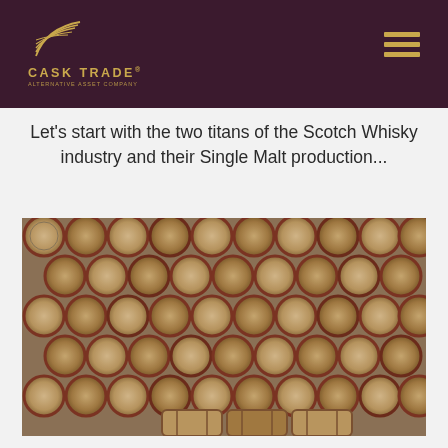CASK TRADE®
Let's start with the two titans of the Scotch Whisky industry and their Single Malt production...
[Figure (photo): Rows of oak whisky barrels stacked in a warehouse, photographed from the front showing circular barrel ends with red and natural wood hoops.]